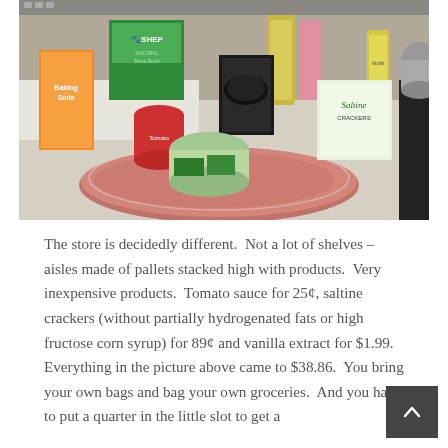[Figure (photo): Photograph of grocery items on a counter including baking soda boxes, canned tomatoes, a tub of something green-lidded, saltine crackers box, vanilla extract, Shep brand box, cooking oil, and a large cut of raw meat in plastic wrap in the foreground.]
The store is decidedly different.  Not a lot of shelves – aisles made of pallets stacked high with products.  Very inexpensive products.  Tomato sauce for 25¢, saltine crackers (without partially hydrogenated fats or high fructose corn syrup) for 89¢ and vanilla extract for $1.99.  Everything in the picture above came to $38.86.  You bring your own bags and bag your own groceries.  And you have to put a quarter in the little slot to get a shopping cart.  Put the cart away and you get it back.